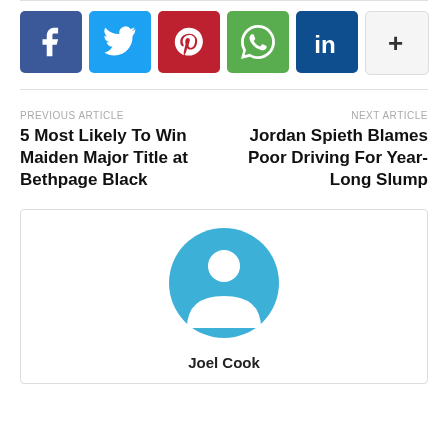[Figure (infographic): Row of 6 social share buttons: Facebook (dark blue, f), Twitter (light blue, bird), Pinterest (red, p), WhatsApp (green, chat bubble), LinkedIn (dark blue, in), More (white, +)]
PREVIOUS ARTICLE
NEXT ARTICLE
5 Most Likely To Win Maiden Major Title at Bethpage Black
Jordan Spieth Blames Poor Driving For Year-Long Slump
[Figure (illustration): Generic user avatar icon in blue/teal circle with white person silhouette]
Joel Cook